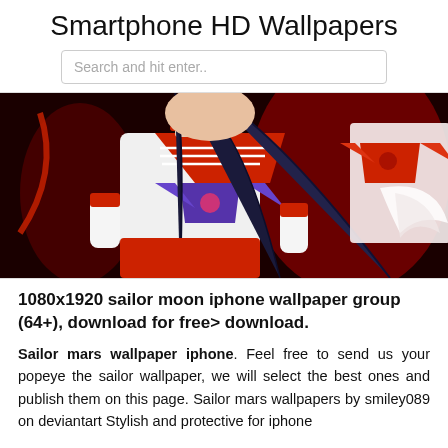Smartphone HD Wallpapers
Search and hit enter..
[Figure (illustration): Anime illustration of Sailor Mars character in white and red sailor uniform with purple bow, long dark hair, against a dark red background. A second character with a red bow is partially visible on the right.]
1080x1920 sailor moon iphone wallpaper group (64+), download for free> download.
Sailor mars wallpaper iphone. Feel free to send us your popeye the sailor wallpaper, we will select the best ones and publish them on this page. Sailor mars wallpapers by smiley089 on deviantart Stylish and protective for iphone